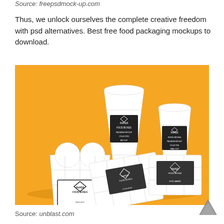Source: freepsdmock-up.com
Thus, we unlock ourselves the complete creative freedom with psd alternatives. Best free food packaging mockups to download.
[Figure (photo): Photo of white paper food packaging mockups including two cups labeled 'Paper Food Boxes', a french fry box, and burger boxes arranged on an orange background.]
Source: unblast.com